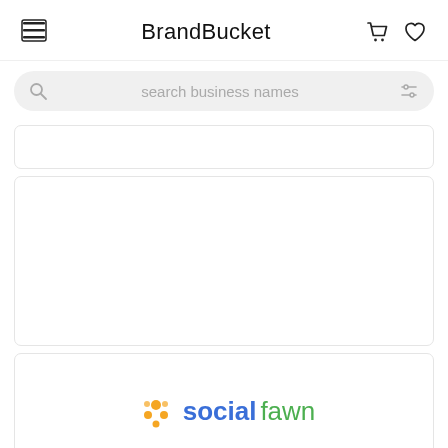BrandBucket
search business names
[Figure (screenshot): BrandBucket website screenshot showing navigation header with menu icon, BrandBucket title, cart and heart icons, a search bar with 'search business names' placeholder, two blank listing cards, and a third card showing the 'socialfawn' brand logo with orange dot icon and blue/green text]
[Figure (logo): socialfawn logo with orange dot cluster icon and text 'social' in blue bold and 'fawn' in green regular weight]